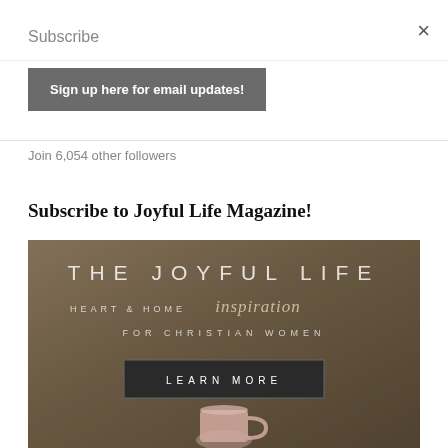Subscribe
×
Sign up here for email updates!
Join 6,054 other followers
Subscribe to Joyful Life Magazine!
[Figure (illustration): Magazine advertisement for The Joyful Life magazine showing text 'THE JOYFUL LIFE / HEART & HOME inspiration / FOR CHRISTIAN WOMEN' with a Learn More button and a pink mug at the bottom, on a warm brown background.]